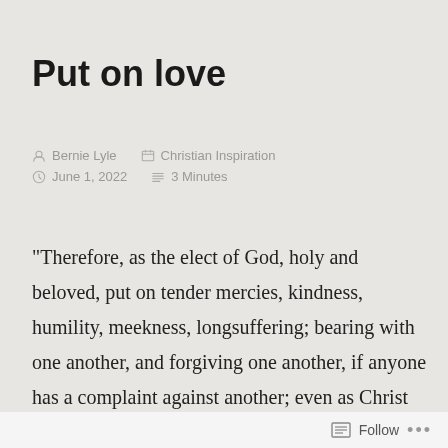Put on love
Bernie Lyle   Christian Inspiration
June 1, 2022   3 Minutes
“Therefore, as the elect of God, holy and beloved, put on tender mercies, kindness, humility, meekness, longsuffering; bearing with one another, and forgiving one another, if anyone has a complaint against another; even as Christ forgave you, so you also must do. But above all these things put on love, which is the bond of perfection. And let the peace of God rule in your hearts,
Follow ...